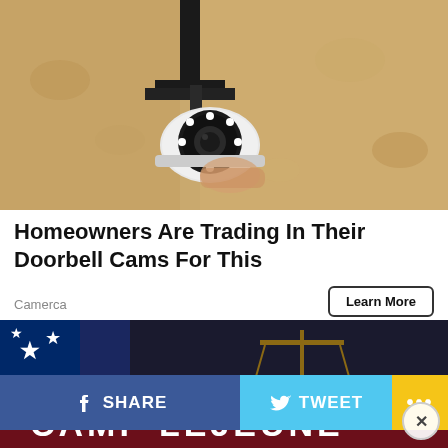[Figure (photo): Security camera mounted on a textured wall, close-up photo]
Homeowners Are Trading In Their Doorbell Cams For This
Camerca
Learn More
[Figure (photo): Camp Lejeune advertisement image showing scales of justice and an American flag with white text reading CAMP LEJEUNE on a dark maroon banner]
SHARE
TWEET
...